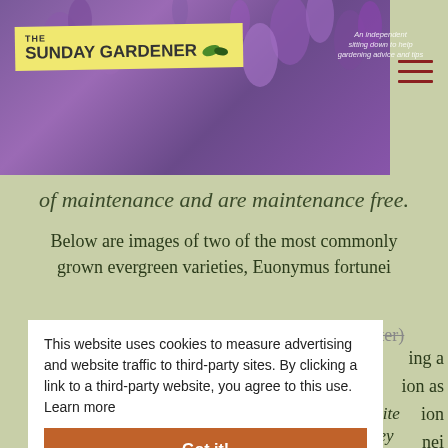[Figure (illustration): The Sunday Gardener website header banner with purple flowers/lavender background, yellow logo label reading THE SUNDAY GARDENER with leaf icon, and italic tagline text. Hamburger menu icon at top right.]
of maintenance and are maintenance free.
Below are images of two of the most commonly grown evergreen varieties, Euonymus fortunei 'Emerald'n' Gold (right) and Silver Queen (center) illustrated as mature shrubs. If you are planting a more formal hedge in addition as their variegation fortunei varieties are tough and will grow in an exposed site which makes them a useful garden shrub and they will also tolerate a very alkaline soil.
This website uses cookies to measure advertising and website traffic to third-party sites. By clicking a link to a third-party website, you agree to this use.  Learn more
Got it!